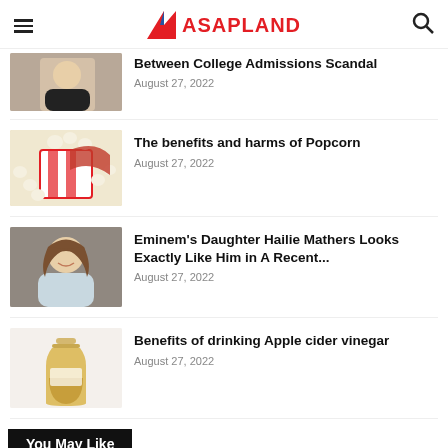ASAPLAND navigation bar with logo, hamburger menu, and search icon
Between College Admissions Scandal
August 27, 2022
The benefits and harms of Popcorn
August 27, 2022
Eminem's Daughter Hailie Mathers Looks Exactly Like Him in A Recent...
August 27, 2022
Benefits of drinking Apple cider vinegar
August 27, 2022
You May Like